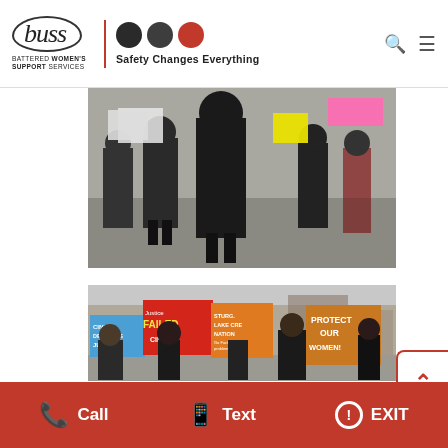buss - BATTERED WOMEN'S SUPPORT SERVICES - Safety Changes Everything
[Figure (photo): Protest march photo showing people walking with signs, viewed from behind, winter clothing]
[Figure (photo): Protest march photo showing marchers holding signs including 'CINDY DESERVES JUSTICE', 'JUSTICE FAILED CINDY!', 'STURGEON LAKE CREE NATION', 'PROTECT OUR WOMEN!']
Call   Text   EXIT